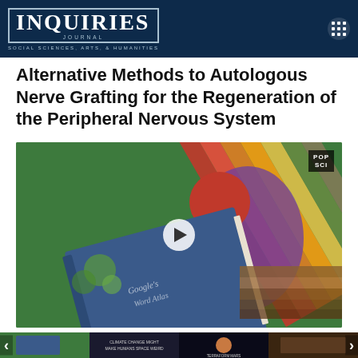INQUIRIES JOURNAL — SOCIAL SCIENCES, ARTS, & HUMANITIES
Alternative Methods to Autologous Nerve Grafting for the Regeneration of the Peripheral Nervous System
[Figure (screenshot): Video thumbnail showing a colorful illustrated book (Google's Word Atlas) on a green background with a play button overlay and POP SCI badge in top right corner]
[Figure (photo): Row of four smaller video thumbnails at the bottom of the page with left and right navigation arrows]